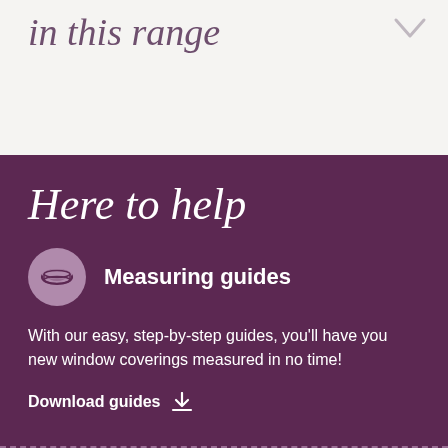in this range
Here to help
Measuring guides
With our easy, step-by-step guides, you'll have you new window coverings measured in no time!
Download guides